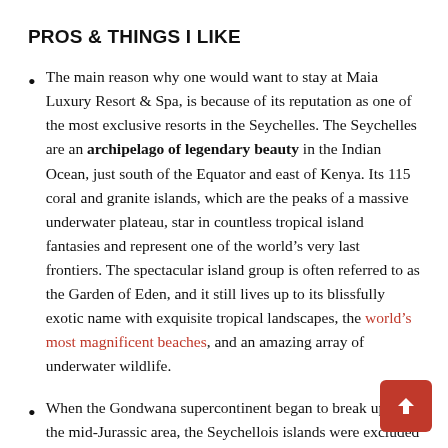PROS & THINGS I LIKE
The main reason why one would want to stay at Maia Luxury Resort & Spa, is because of its reputation as one of the most exclusive resorts in the Seychelles. The Seychelles are an archipelago of legendary beauty in the Indian Ocean, just south of the Equator and east of Kenya. Its 115 coral and granite islands, which are the peaks of a massive underwater plateau, star in countless tropical island fantasies and represent one of the world’s very last frontiers. The spectacular island group is often referred to as the Garden of Eden, and it still lives up to its blissfully exotic name with exquisite tropical landscapes, the world’s most magnificent beaches, and an amazing array of underwater wildlife.
When the Gondwana supercontinent began to break up in the mid-Jurassic area, the Seychellois islands were excluded from the drift and remained untouched for the next 1 million years. Cut off from the rest of Africa by nearly a thousand miles of ocean, the isolated location of the